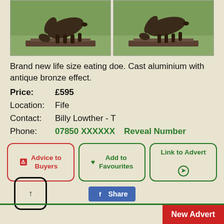[Figure (photo): Two photos side by side of a life-size bronze-effect cast aluminium deer/doe sculpture, shown eating/grazing, with green grass background]
Brand new life size eating doe. Cast aluminium with antique bronze effect.
Price:    £595
Location:  Fife
Contact:   Billy Lowther - T
Phone:    07850 XXXXXX    Reveal Number
⚠ Advice to Buyers   ♥ Add to Favourites   Link to Advert ➔
f Share
New Advert